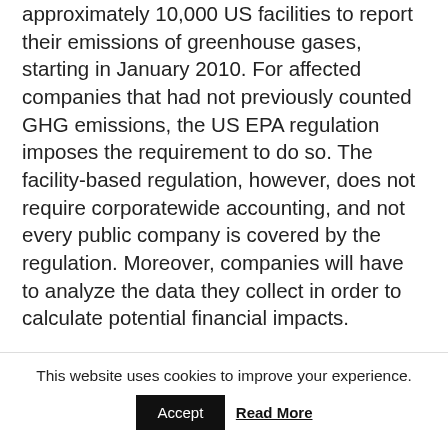approximately 10,000 US facilities to report their emissions of greenhouse gases, starting in January 2010. For affected companies that had not previously counted GHG emissions, the US EPA regulation imposes the requirement to do so. The facility-based regulation, however, does not require corporatewide accounting, and not every public company is covered by the regulation. Moreover, companies will have to analyze the data they collect in order to calculate potential financial impacts.
Companies that do not currently report GHG emissions information at the corporate level
This website uses cookies to improve your experience.
Accept
Read More